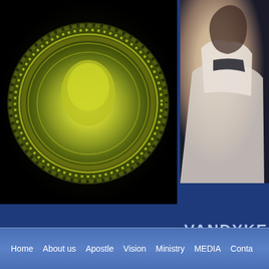[Figure (photo): Close-up photo of a circular decorative medallion or seal with yellow-green intricate floral and text engravings on dark background]
[Figure (photo): Partial photo of a person in white garment with dark background, upper body visible]
VANDYKE
Home   About us   Apostle   Vision   Ministry   MEDIA   Conta